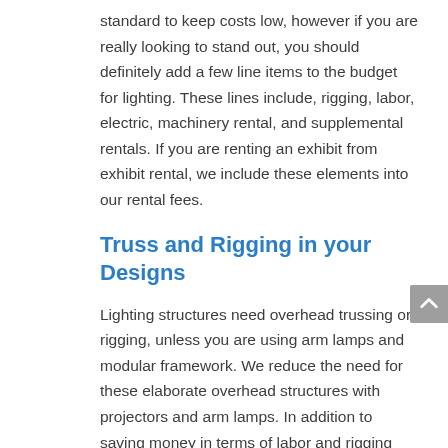standard to keep costs low, however if you are really looking to stand out, you should definitely add a few line items to the budget for lighting. These lines include, rigging, labor, electric, machinery rental, and supplemental rentals. If you are renting an exhibit from exhibit rental, we include these elements into our rental fees.
Truss and Rigging in your Designs
Lighting structures need overhead trussing or rigging, unless you are using arm lamps and modular framework. We reduce the need for these elaborate overhead structures with projectors and arm lamps. In addition to saving money in terms of labor and rigging equipment rental, using projectors and arm lamps saves a huge amount of time and uncertainty because your certification process by show organizers will be less.